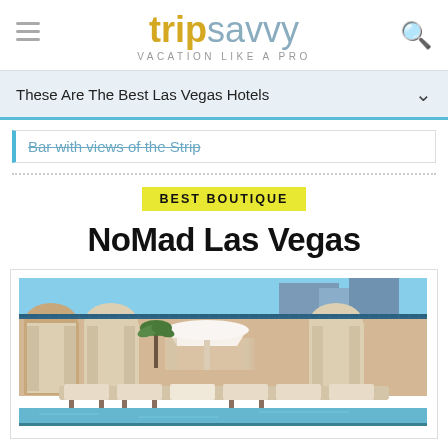tripsavvy VACATION LIKE A PRO
These Are The Best Las Vegas Hotels
Bar with views of the Strip
BEST BOUTIQUE
NoMad Las Vegas
[Figure (photo): Outdoor pool area at NoMad Las Vegas hotel showing lounge chairs, a white umbrella/cabana, pool water, and hotel building in background against blue sky]